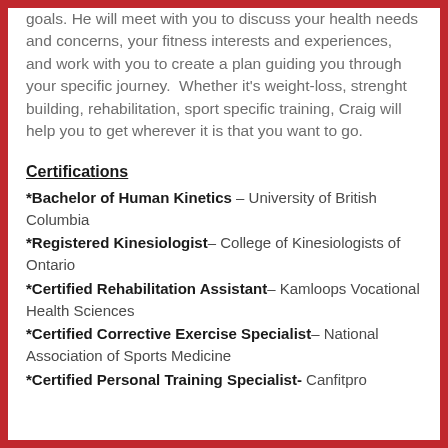goals. He will meet with you to discuss your health needs and concerns, your fitness interests and experiences, and work with you to create a plan guiding you through your specific journey. Whether it's weight-loss, strenght building, rehabilitation, sport specific training, Craig will help you to get wherever it is that you want to go.
Certifications
*Bachelor of Human Kinetics – University of British Columbia
*Registered Kinesiologist – College of Kinesiologists of Ontario
*Certified Rehabilitation Assistant – Kamloops Vocational Health Sciences
*Certified Corrective Exercise Specialist – National Association of Sports Medicine
*Certified Personal Training Specialist- Canfitpro